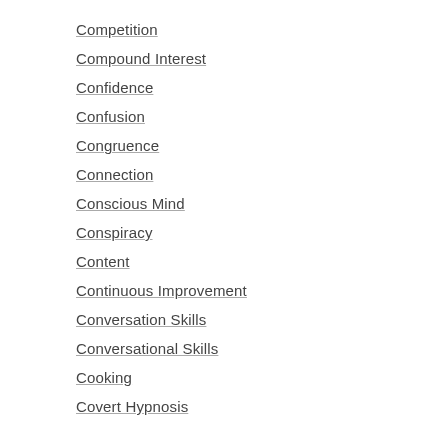Competition
Compound Interest
Confidence
Confusion
Congruence
Connection
Conscious Mind
Conspiracy
Content
Continuous Improvement
Conversation Skills
Conversational Skills
Cooking
Covert Hypnosis